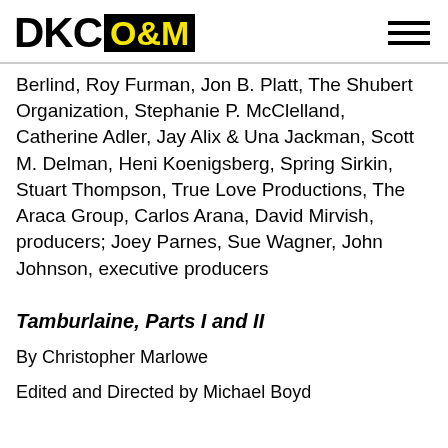DKC O&M
Berlind, Roy Furman, Jon B. Platt, The Shubert Organization, Stephanie P. McClelland, Catherine Adler, Jay Alix & Una Jackman, Scott M. Delman, Heni Koenigsberg, Spring Sirkin, Stuart Thompson, True Love Productions, The Araca Group, Carlos Arana, David Mirvish, producers; Joey Parnes, Sue Wagner, John Johnson, executive producers
Tamburlaine, Parts I and II
By Christopher Marlowe
Edited and Directed by Michael Boyd